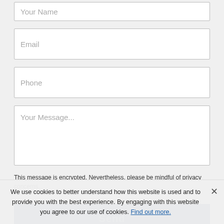Your Name
Email
Phone
Your Message...
This message is encrypted. Nevertheless, please be mindful of privacy concerns.
Send
We use cookies to better understand how this website is used and to provide you with the best experience. By engaging with this website you agree to our use of cookies. Find out more.